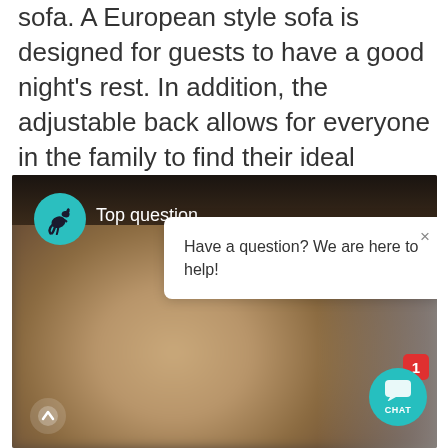sofa. A European style sofa is designed for guests to have a good night's rest. In addition, the adjustable back allows for everyone in the family to find their ideal lounging position, since every seat moves in two positions.
[Figure (screenshot): Screenshot of a live video chat interface showing a smiling woman with a kangaroo logo icon and 'Top question' label, a white popup chat bubble saying 'Have a question? We are here to help!', a teal CHAT button with a red notification badge showing '1', and a scroll-up arrow at bottom left.]